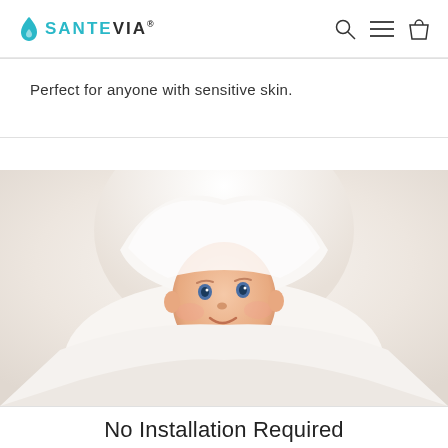SANTEVIA
Perfect for anyone with sensitive skin.
[Figure (photo): A baby wrapped in a white hooded towel, looking upward with a gentle expression, on a light/white background.]
No Installation Required
Simply hang over your bathtub faucet and let the